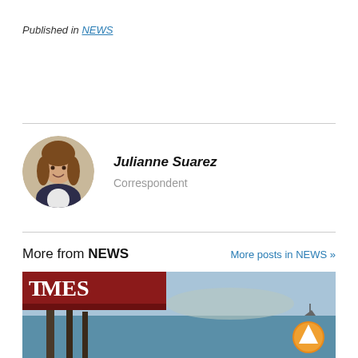Published in NEWS
Julianne Suarez
Correspondent
More from NEWS
More posts in NEWS »
[Figure (photo): News article thumbnail showing a waterfront scene with a Times newspaper logo overlay and an orange upward arrow button]